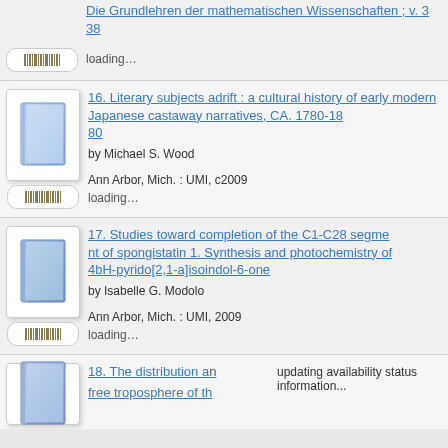Die Grundlehren der mathematischen Wissenschaften ; v. 338
loading...
16. Literary subjects adrift : a cultural history of early modern Japanese castaway narratives, CA. 1780-1880
by Michael S. Wood
Ann Arbor, Mich. : UMI, c2009
loading...
17. Studies toward completion of the C1-C28 segment of spongistatin 1. Synthesis and photochemistry of 4bH-pyrido[2,1-a]isoindol-6-one
by Isabelle G. Modolo
Ann Arbor, Mich. : UMI, 2009
loading...
18. The distribution a... free troposphere of th...
updating availability status information...